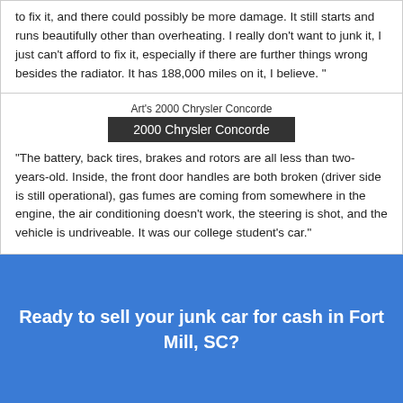to fix it, and there could possibly be more damage. It still starts and runs beautifully other than overheating. I really don't want to junk it, I just can't afford to fix it, especially if there are further things wrong besides the radiator. It has 188,000 miles on it, I believe. "
[Figure (photo): Broken image placeholder labeled Art's 2000 Chrysler Concorde with a dark caption bar reading '2000 Chrysler Concorde']
"The battery, back tires, brakes and rotors are all less than two-years-old. Inside, the front door handles are both broken (driver side is still operational), gas fumes are coming from somewhere in the engine, the air conditioning doesn't work, the steering is shot, and the vehicle is undriveable. It was our college student's car."
Ready to sell your junk car for cash in Fort Mill, SC?